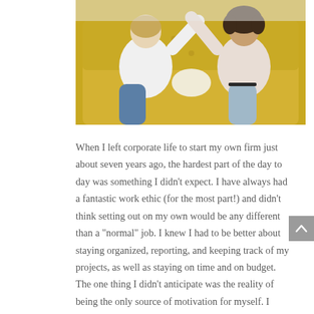[Figure (photo): Two women sitting on a yellow tufted sofa, reaching toward each other with one arm raised, both wearing casual clothes (white/light tops and jeans). Indoor setting.]
When I left corporate life to start my own firm just about seven years ago, the hardest part of the day to day was something I didn't expect. I have always had a fantastic work ethic (for the most part!) and didn't think setting out on my own would be any different than a "normal" job. I knew I had to be better about staying organized, reporting, and keeping track of my projects, as well as staying on time and on budget. The one thing I didn't anticipate was the reality of being the only source of motivation for myself. I didn't have coworkers to give me dirty looks when I was